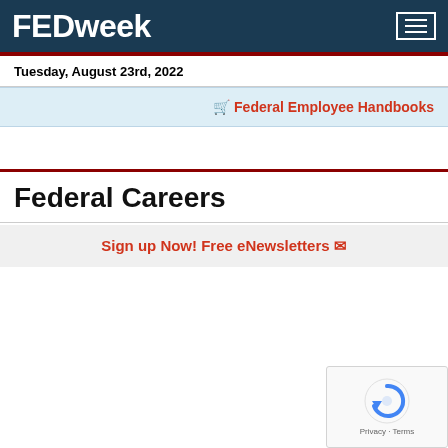FEDweek
Tuesday, August 23rd, 2022
🛒 Federal Employee Handbooks
Federal Careers
Sign up Now! Free eNewsletters ✉